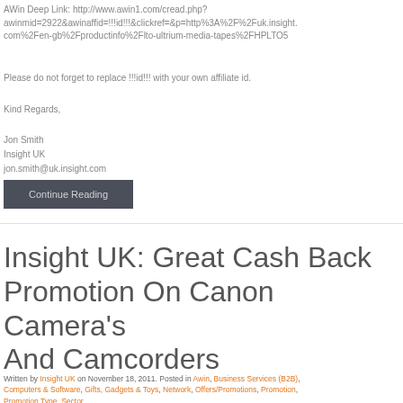AWin Deep Link: http://www.awin1.com/cread.php?awinmid=2922&awinaffid=!!!id!!!&clickref=&p=http%3A%2F%2Fuk.insight.com%2Fen-gb%2Fproductinfo%2Flto-ultrium-media-tapes%2FHPLTO5
Please do not forget to replace !!!id!!! with your own affiliate id.
Kind Regards,
Jon Smith
Insight UK
jon.smith@uk.insight.com
Continue Reading
Insight UK: Great Cash Back Promotion On Canon Camera's And Camcorders
Written by Insight UK on November 18, 2011. Posted in Awin, Business Services (B2B), Computers & Software, Gifts, Gadgets & Toys, Network, Offers/Promotions, Promotion, Promotion Type, Sector